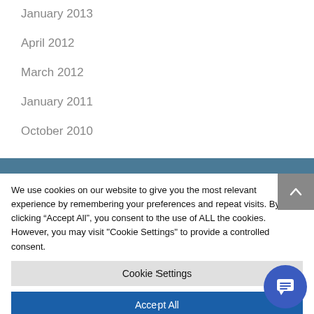January 2013
April 2012
March 2012
January 2011
October 2010
We use cookies on our website to give you the most relevant experience by remembering your preferences and repeat visits. By clicking “Accept All”, you consent to the use of ALL the cookies. However, you may visit "Cookie Settings" to provide a controlled consent.
Cookie Settings
Accept All